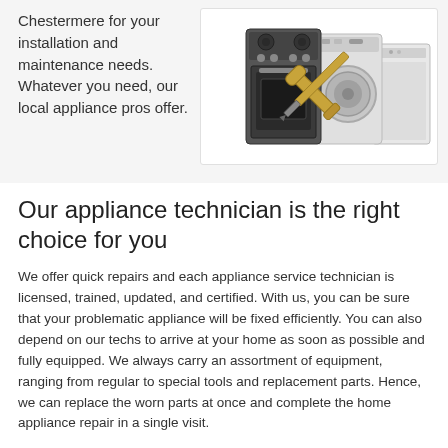Chestermere for your installation and maintenance needs. Whatever you need, our local appliance pros offer.
[Figure (photo): Photo of household appliances (stove, washing machine, refrigerator, dishwasher) with crossed wrench and screwdriver tools overlaid]
Our appliance technician is the right choice for you
We offer quick repairs and each appliance service technician is licensed, trained, updated, and certified. With us, you can be sure that your problematic appliance will be fixed efficiently. You can also depend on our techs to arrive at your home as soon as possible and fully equipped. We always carry an assortment of equipment, ranging from regular to special tools and replacement parts. Hence, we can replace the worn parts at once and complete the home appliance repair in a single visit.
What our local Chestermere appliance technician can do is maintain and install units. We recommend leaving the installation of all electric and gas appliances to our experts to b